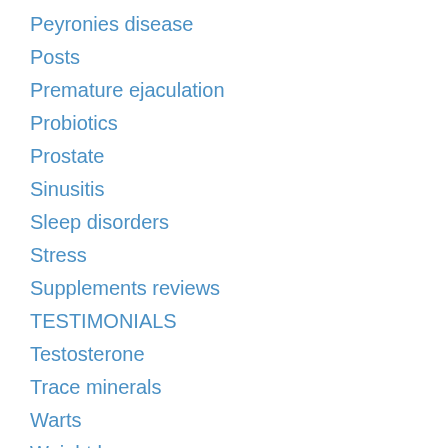Peyronies disease
Posts
Premature ejaculation
Probiotics
Prostate
Sinusitis
Sleep disorders
Stress
Supplements reviews
TESTIMONIALS
Testosterone
Trace minerals
Warts
Weight loss